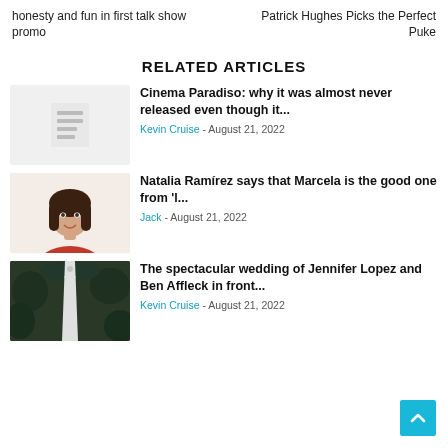honesty and fun in first talk show promo
Patrick Hughes Picks the Perfect Puke
RELATED ARTICLES
[Figure (illustration): Grey placeholder thumbnail with document icon]
Cinema Paradiso: why it was almost never released even though it...
Kevin Cruise - August 21, 2022
[Figure (photo): Woman with dark hair wearing a red top smiling, headshot on light background]
Natalia Ramírez says that Marcela is the good one from 'l...
Jack - August 21, 2022
[Figure (photo): Aerial view of an outdoor wedding with long white aisle in green landscape]
The spectacular wedding of Jennifer Lopez and Ben Affleck in front...
Kevin Cruise - August 21, 2022